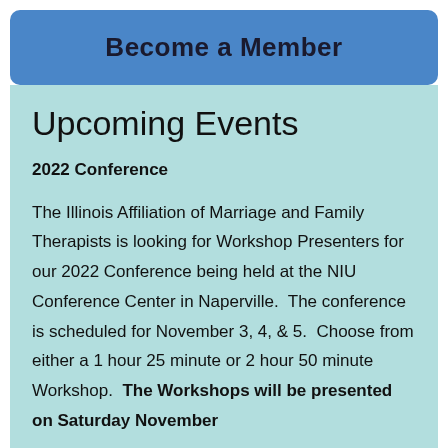Become a Member
Upcoming Events
2022 Conference
The Illinois Affiliation of Marriage and Family Therapists is looking for Workshop Presenters for our 2022 Conference being held at the NIU Conference Center in Naperville.  The conference is scheduled for November 3, 4, & 5.  Choose from either a 1 hour 25 minute or 2 hour 50 minute Workshop.  The Workshops will be presented on Saturday November